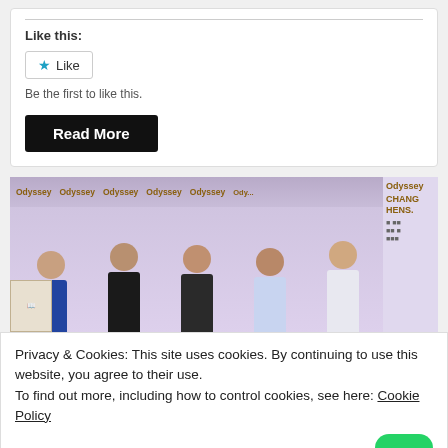Like this:
Like
Be the first to like this.
Read More
[Figure (photo): Five men standing in front of a backdrop with 'Odyssey' repeated branding. The backdrop shows gold/yellow Odyssey logos on a white/purple background. Text on right side reads 'CHANGE HAPPENS'. The men are dressed in formal/semi-formal attire.]
Privacy & Cookies: This site uses cookies. By continuing to use this website, you agree to their use.
To find out more, including how to control cookies, see here: Cookie Policy
Close and acc